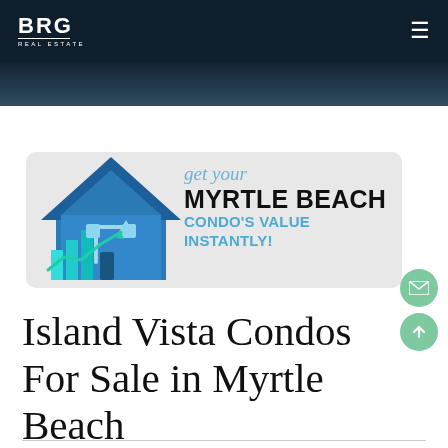BRG REAL ESTATE
[Figure (illustration): Dark ocean/water hero strip image at top of page]
[Figure (infographic): Banner ad with house icon and bar chart graphic. Text: 'get your MYRTLE BEACH CONDO'S VALUE INSTANTLY!']
Island Vista Condos For Sale in Myrtle Beach